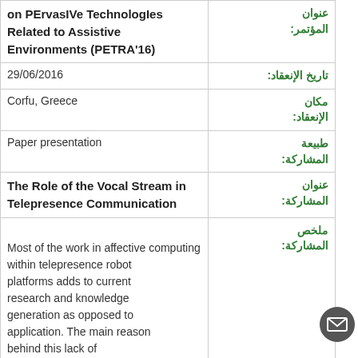| (left content) | عنوان المؤتمر: |
| --- | --- |
| on PErvasIVe TechnologIes Related to Assistive Environments (PETRA'16) | عنوان المؤتمر: |
| 29/06/2016 | تاريخ الإنعقاد: |
| Corfu, Greece | مكان الإنعقاد: |
| Paper presentation | طبيعة المشاركة: |
| The Role of the Vocal Stream in Telepresence Communication | عنوان المشاركة: |
| Most of the work in affective computing
within telepresence robot platforms adds to current research and knowledge generation as opposed to application. The main reason behind this lack of | ملخص المشاركة: |